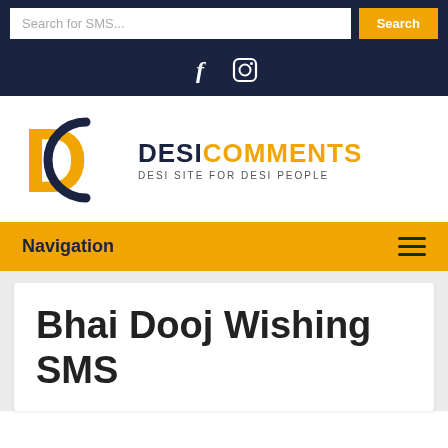Search for SMS...  Search
[Figure (logo): Facebook and Instagram social media icons on dark navy background]
[Figure (logo): DesiComments logo — DC letters with yellow D and navy C arc, text DESICOMMENTS and DESI SITE FOR DESI PEOPLE]
Navigation
Bhai Dooj Wishing SMS